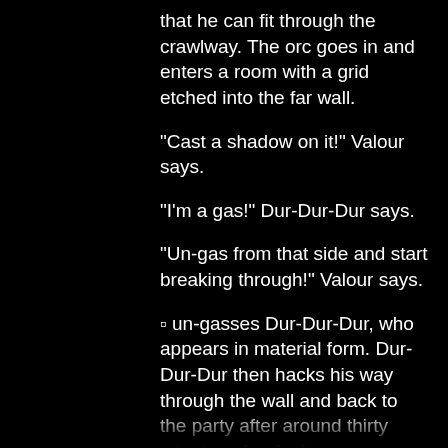that he can fit through the crawlway. The orc goes in and enters a room with a grid etched into the far wall.
"Cast a shadow on it!" Valour says.
"I'm a gas!" Dur-Dur-Dur says.
"Un-gas from that side and start breaking through!" Valour says.
◻ un-gasses Dur-Dur-Dur, who appears in material form. Dur-Dur-Dur then hacks his way through the wall and back to the party after around thirty minutes of swinging.
"This is a puzzle key," Dur-Dur-Dur says, looking at the s...